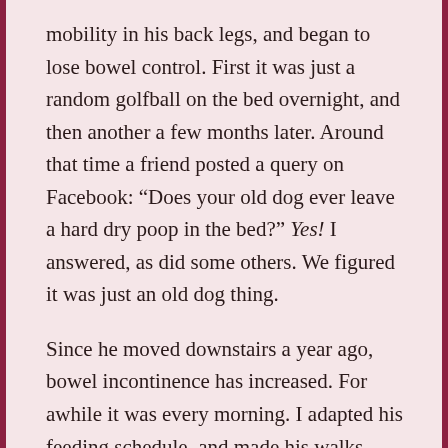mobility in his back legs, and began to lose bowel control. First it was just a random golfball on the bed overnight, and then another a few months later. Around that time a friend posted a query on Facebook: “Does your old dog ever leave a hard dry poop in the bed?” Yes! I answered, as did some others. We figured it was just an old dog thing.

Since he moved downstairs a year ago, bowel incontinence has increased. For awhile it was every morning. I adapted his feeding schedule, and made his walks more intentional, and now it’s back down to every few days. There’s a little